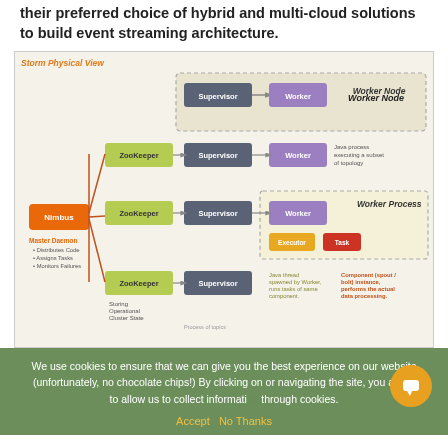their preferred choice of hybrid and multi-cloud solutions to build event streaming architecture.
[Figure (flowchart): Storm Physical View diagram showing Nimbus connected to ZooKeeper nodes, Supervisors, Workers, Executor and Task components. Labels: Master Daemon (Distributes Code, Assigns Tasks, Monitors Failures), Storing Operational Cluster State, Worker Node, Java process executing a subset of topology, Worker Process, Java thread spawned by Worker runs tasks of same component, Component (spout/bolt) instance performs the actual data processing.]
We use cookies to ensure that we can give you the best experience on our website (unfortunately, no chocolate chips!) By clicking on or navigating the site, you agree to allow us to collect information through cookies.
Accept   No Thanks